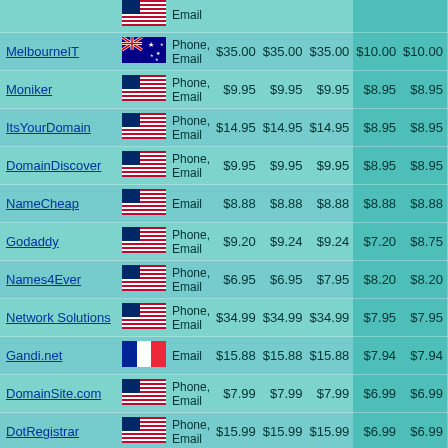| Registrar | Country | Support | Price1 | Price2 | Price3 | Price4 | Price5 | Price6 |
| --- | --- | --- | --- | --- | --- | --- | --- | --- |
| MelbourneIT | AU | Phone, Email | $35.00 | $35.00 | $35.00 | $10.00 | $10.00 | $10. |
| Moniker | US | Phone, Email | $9.95 | $9.95 | $9.95 | $8.95 | $8.95 | $8.9 |
| ItsYourDomain | US | Phone, Email | $14.95 | $14.95 | $14.95 | $8.95 | $8.95 | $8.9 |
| DomainDiscover | US | Phone, Email | $9.95 | $9.95 | $9.95 | $8.95 | $8.95 | $8.9 |
| NameCheap | US | Email | $8.88 | $8.88 | $8.88 | $8.88 | $8.88 | $8.8 |
| Godaddy | US | Phone, Email | $9.20 | $9.24 | $9.24 | $7.20 | $8.75 | $8.7 |
| Names4Ever | US | Phone, Email | $6.95 | $6.95 | $7.95 | $8.20 | $8.20 | $8.2 |
| Network Solutions | US | Phone, Email | $34.99 | $34.99 | $34.99 | $7.95 | $7.95 | $7.9 |
| Gandi.net | FR | Email | $15.88 | $15.88 | $15.88 | $7.94 | $7.94 | $7.9 |
| DomainSite.com | US | Phone, Email | $7.99 | $7.99 | $7.99 | $6.99 | $6.99 | $6.9 |
| DotRegistrar | US | Phone, Email | $15.99 | $15.99 | $15.99 | $6.99 | $6.99 | $6.9 |
| Enom | US | Tickets | $9.95 | $9.95 | $9.95 | $6.95 | $6.95 | $6.9 |
| Joker.com | DE | Email | $11.49 | $11.49 | $11.49 | $6.89 | $6.89 | $6.8 |
| GKG | US | Phone, Email | $8.95 | $6.95 | $8.95 | $6.75 | $6.75 | $6.7 |